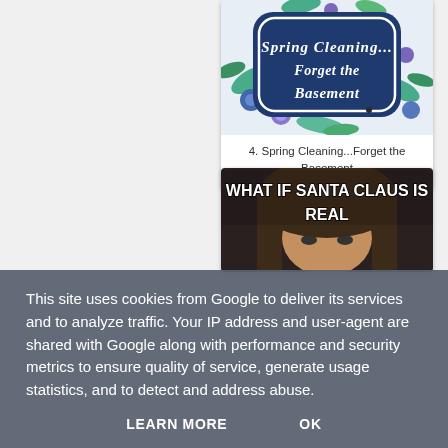[Figure (illustration): Spring Cleaning... Forget the Basement - decorative image with floral background and navy badge with cursive text]
4. Spring Cleaning...Forget the Basement
[Figure (photo): Meme image with text 'WHAT IF SANTA CLAUS IS REAL' over a photo of a person with long hair and a contemplative expression]
This site uses cookies from Google to deliver its services and to analyze traffic. Your IP address and user-agent are shared with Google along with performance and security metrics to ensure quality of service, generate usage statistics, and to detect and address abuse.
LEARN MORE    OK